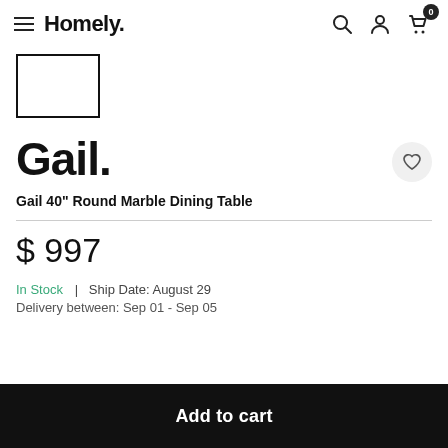Homely.
[Figure (photo): Small product thumbnail image placeholder (empty rectangle outline)]
Gail.
Gail 40" Round Marble Dining Table
$ 997
In Stock | Ship Date: August 29
Delivery between: Sep 01 - Sep 05
Add to cart